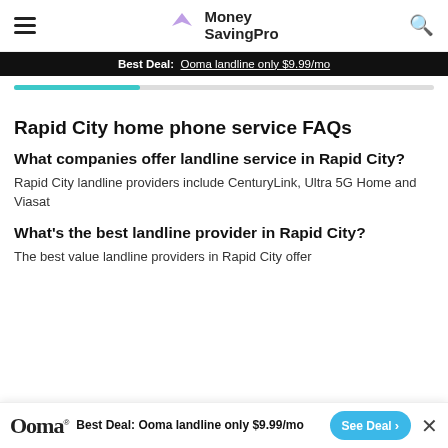MoneySavingPro
Best Deal: Ooma landline only $9.99/mo
Rapid City home phone service FAQs
What companies offer landline service in Rapid City?
Rapid City landline providers include CenturyLink, Ultra 5G Home and Viasat
What's the best landline provider in Rapid City?
The best value landline providers in Rapid City offer
Best Deal: Ooma landline only $9.99/mo